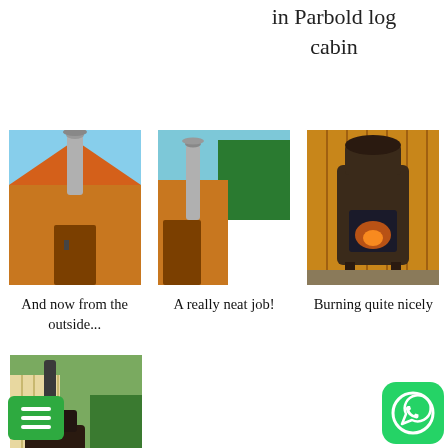in Parbold log cabin
[Figure (photo): Exterior view of a wooden log cabin/shed with a metal chimney flue sticking up through the roof]
And now from the outside...
[Figure (photo): Side view of a wooden cabin with a metal chimney/flue pipe going through the wall]
A really neat job!
[Figure (photo): A wood-burning stove burning inside a wooden cabin interior]
Burning quite nicely
[Figure (photo): Wood burning stove placed outside against a wooden fence with fire visible through the glass door]